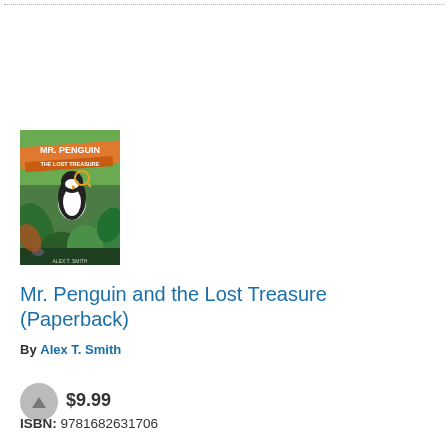[Figure (illustration): Book cover for Mr. Penguin and the Lost Treasure by Alex T. Smith. Illustrated cover with green jungle foliage, a penguin character in an orange banner at top reading MR. PENGUIN THE LOST TREASURE, author name at bottom.]
Mr. Penguin and the Lost Treasure (Paperback)
By Alex T. Smith
$9.99
ISBN: 9781682631706